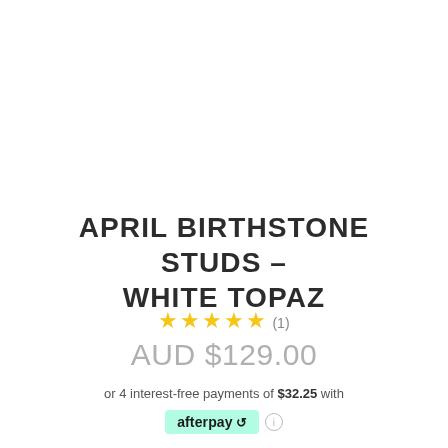APRIL BIRTHSTONE STUDS - WHITE TOPAZ
★★★★★ (1)
AUD $129.00
or 4 interest-free payments of $32.25 with
[Figure (logo): Afterpay logo badge in mint green background with afterpay text and looped arrow icon]